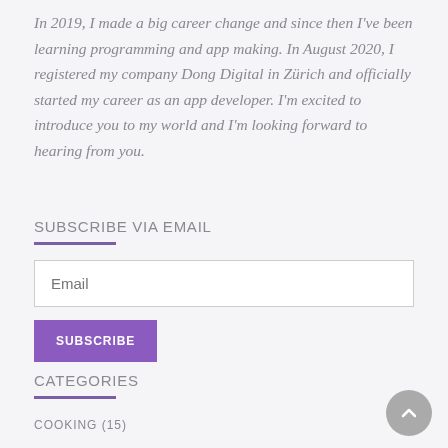In 2019, I made a big career change and since then I've been learning programming and app making. In August 2020, I registered my company Dong Digital in Zürich and officially started my career as an app developer. I'm excited to introduce you to my world and I'm looking forward to hearing from you.
SUBSCRIBE VIA EMAIL
CATEGORIES
COOKING (15)